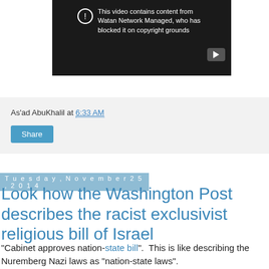[Figure (screenshot): YouTube video blocked screenshot showing warning icon and text: 'This video contains content from Watan Network Managed, who has blocked it on copyright grounds', with a play button at bottom right on dark background]
As'ad AbuKhalil at 6:33 AM
Share
Tuesday, November 25, 2014
Look how the Washington Post describes the racist exclusivist religious bill of Israel
"Cabinet approves nation-state bill".  This is like describing the Nuremberg Nazi laws as "nation-state laws".